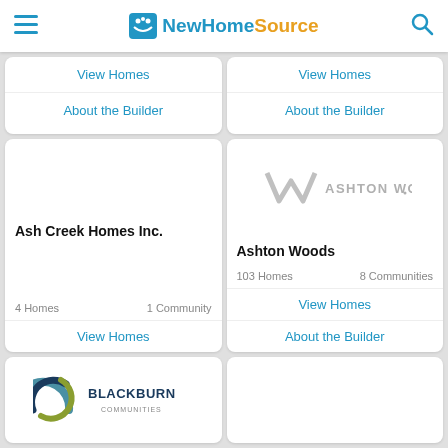NewHomeSource
[Figure (screenshot): Top-left builder card showing View Homes and About the Builder links (partially visible)]
[Figure (screenshot): Top-right builder card showing View Homes and About the Builder links (partially visible)]
[Figure (screenshot): Ash Creek Homes Inc. builder card: 4 Homes, 1 Community, View Homes link]
[Figure (logo): Ashton Woods builder card with AW logo, 103 Homes, 8 Communities, View Homes and About the Builder links]
[Figure (logo): Blackburn Communities builder card with circular swirl logo (partially visible)]